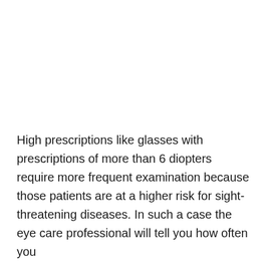High prescriptions like glasses with prescriptions of more than 6 diopters require more frequent examination because those patients are at a higher risk for sight-threatening diseases. In such a case the eye care professional will tell you how often you